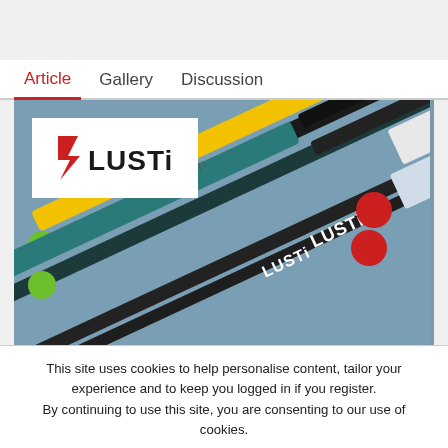[Figure (screenshot): Website screenshot showing Article/Gallery/Discussion tabs, a hero image of Lusti skis brand with logo, and a cookie consent banner with Accept and Learn more buttons.]
This site uses cookies to help personalise content, tailor your experience and to keep you logged in if you register.
By continuing to use this site, you are consenting to our use of cookies.
✓ Accept
Learn more...